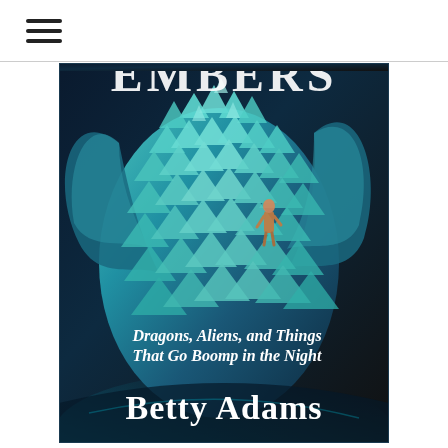≡ (hamburger menu icon)
[Figure (photo): Book cover for 'Embers' by Betty Adams. The cover shows a large dragon with iridescent blue-green scales, its body filling most of the frame. A small human figure clings to the dragon. The subtitle reads 'Dragons, Aliens, and Things That Go Boomp in the Night' in italic white text. The author name 'Betty Adams' appears in large white serif text at the bottom. The word 'EMBERS' is partially visible at the top in large stylized letters.]